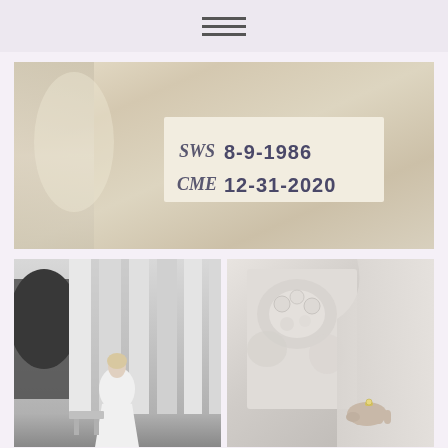navigation menu icon (hamburger)
[Figure (photo): Close-up photo of a white dress lining/label showing two embroidered monograms with dates: monogram 'SWS' with date '8-9-1986' and monogram 'CME' with date '12-31-2020']
[Figure (photo): Black and white photo of a bride in a white dress standing in front of large white columns outdoors]
[Figure (photo): Close-up black and white photo showing detail of a wedding dress bodice with lace/beaded applique and a hand with an engagement ring]